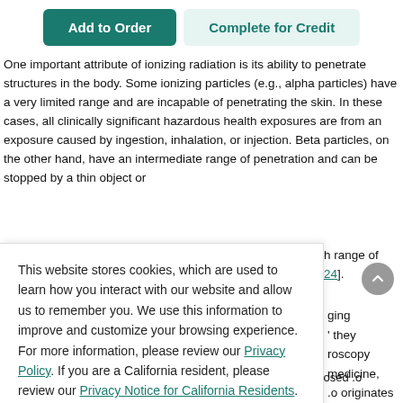Add to Order | Complete for Credit
One important attribute of ionizing radiation is its ability to penetrate structures in the body. Some ionizing particles (e.g., alpha particles) have a very limited range and are incapable of penetrating the skin. In these cases, all clinically significant hazardous health exposures are from an exposure caused by ingestion, inhalation, or injection. Beta particles, on the other hand, have an intermediate range of penetration and can be stopped by a thin object or ...h range of [24].
This website stores cookies, which are used to learn how you interact with our website and allow us to remember you. We use this information to improve and customize your browsing experience. For more information, please review our Privacy Policy. If you are a California resident, please review our Privacy Notice for California Residents.
Accept
...ging 'they ’roscopy medicine, .o originates
...estimated role of the radiation the average American is exposed .o originates from medical procedures [25]